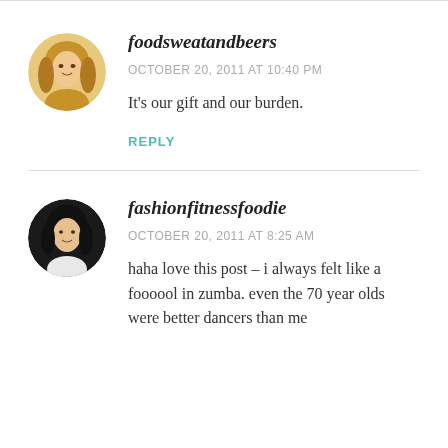[Figure (photo): Circular avatar photo of a woman with long blonde hair against a warm/orange background]
foodsweatandbeers
OCTOBER 20, 2011 AT 10:40 PM
It’s our gift and our burden.
REPLY
[Figure (photo): Circular avatar photo of a woman with dark hair wearing a white outfit against a dark background]
fashionfitnessfoodie
OCTOBER 20, 2011 AT 8:25 AM
haha love this post – i always felt like a foooool in zumba. even the 70 year olds were better dancers than me